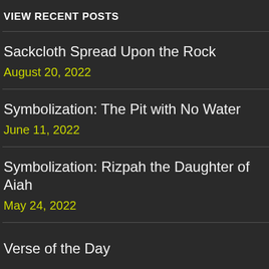VIEW RECENT POSTS
Sackcloth Spread Upon the Rock
August 20, 2022
Symbolization: The Pit with No Water
June 11, 2022
Symbolization: Rizpah the Daughter of Aiah
May 24, 2022
Verse of the Day